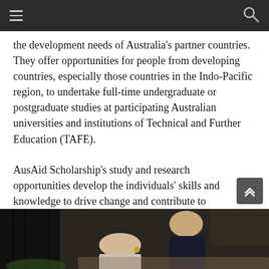navigation bar with hamburger menu and search icon
the development needs of Australia’s partner countries. They offer opportunities for people from developing countries, especially those countries in the Indo-Pacific region, to undertake full-time undergraduate or postgraduate studies at participating Australian universities and institutions of Technical and Further Education (TAFE).
AusAid Scholarship’s study and research opportunities develop the individuals’ skills and knowledge to drive change and contribute to their own country’s development.
[Figure (photo): Two people studying or working together at a table, viewed from above, one person leaning towards the other. Indoor setting.]